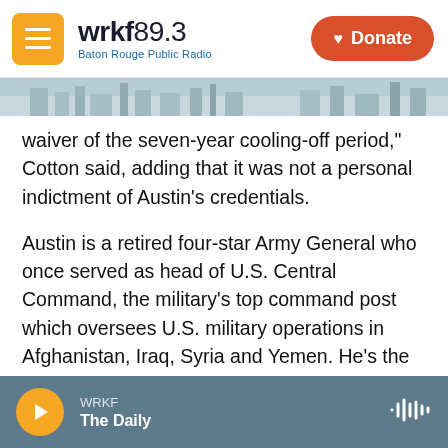wrkf89.3 Baton Rouge Public Radio | Donate
waiver of the seven-year cooling-off period," Cotton said, adding that it was not a personal indictment of Austin's credentials.
Austin is a retired four-star Army General who once served as head of U.S. Central Command, the military's top command post which oversees U.S. military operations in Afghanistan, Iraq, Syria and Yemen. He's the only Black general to attain this position.
It was in that post that Biden came to know Austin, during the Obama Administration, NPR's Pentagon
WRKF | The Daily